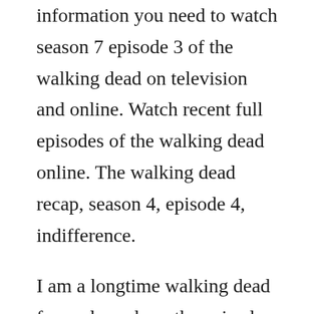information you need to watch season 7 episode 3 of the walking dead on television and online. Watch recent full episodes of the walking dead online. The walking dead recap, season 4, episode 4, indifference.
I am a longtime walking dead fan and purchase the episodes through amazon to watch them as soon as possible. Nov 17, 20 all 3 songs featured in the walking dead season 4 episode 6. Killer within is the fourth episode of the third season of the postapocalyptic horror television series the walking dead. The walking dead season 7